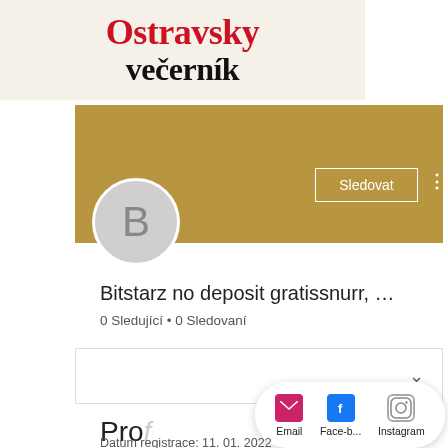[Figure (logo): Ostravsky večerník newspaper logo in red and black serif font on beige background]
[Figure (screenshot): Social media profile page for 'Bitstarz no deposit gratissnurr' with gold cover banner, grey avatar with letter B, Sledovat (follow) button, follower counts, dropdown, Profil section, share popup with Email, Face-b..., Instagram options, and Datum registrace line]
Bitstarz no deposit gratissnurr, ...
0 Sledující • 0 Sledovaní
Sledovat
Profil
Datum registrace: 11. 01. 2022
Email
Face-b...
Instagram